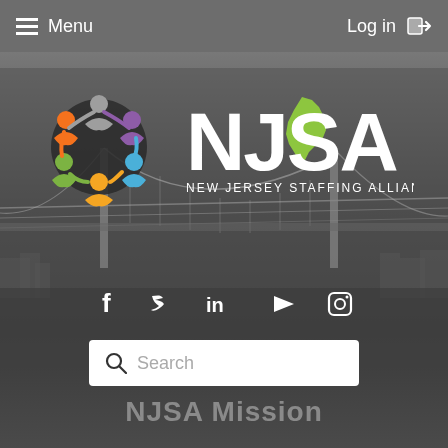Menu  |  Log in
[Figure (logo): NJSA New Jersey Staffing Alliance logo with colorful people circle and NJ state shape]
[Figure (screenshot): Social media icons: Facebook, Twitter, LinkedIn, YouTube, Instagram]
Search
NJSA Mission